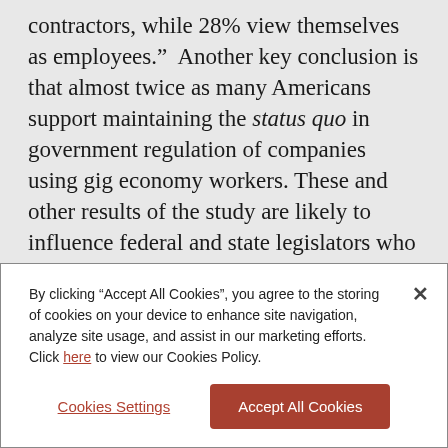contractors, while 28% view themselves as employees.”  Another key conclusion is that almost twice as many Americans support maintaining the status quo in government regulation of companies using gig economy workers. These and other results of the study are likely to influence federal and state legislators who may consider changing existing laws governing independent contractors. The study confirms that an overwhelming percentage of freelancers and other gig workers want legislators and government agencies to take a hands-off
By clicking “Accept All Cookies”, you agree to the storing of cookies on your device to enhance site navigation, analyze site usage, and assist in our marketing efforts. Click here to view our Cookies Policy.
Cookies Settings
Accept All Cookies